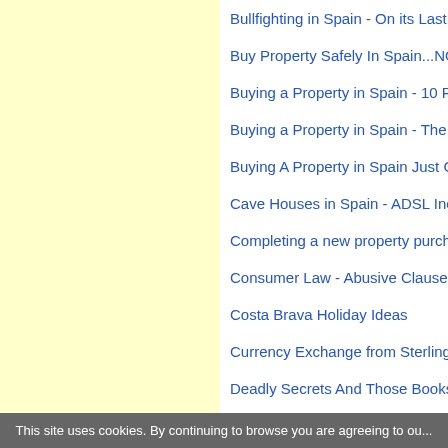Bullfighting in Spain - On its Last Leg...
Buy Property Safely In Spain...NOT!
Buying a Property in Spain - 10 Poin...
Buying a Property in Spain - The Pri...
Buying A Property in Spain Just Got ...
Cave Houses in Spain - ADSL Includ...
Completing a new property purchase...
Consumer Law - Abusive Clauses In...
Costa Brava Holiday Ideas
Currency Exchange from Sterling to ...
Deadly Secrets And Those Books Ab...
Decreto 218 - What It Is And How It A...
This site uses cookies. By continuing to browse you are agreeing to ou...